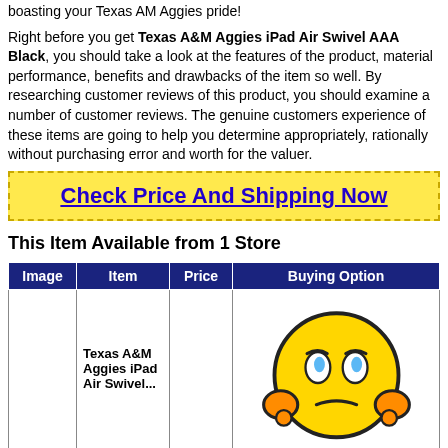boasting your Texas AM Aggies pride!
Right before you get Texas A&M Aggies iPad Air Swivel AAA Black, you should take a look at the features of the product, material performance, benefits and drawbacks of the item so well. By researching customer reviews of this product, you should examine a number of customer reviews. The genuine customers experience of these items are going to help you determine appropriately, rationally without purchasing error and worth for the valuer.
Check Price And Shipping Now
This Item Available from 1 Store
| Image | Item | Price | Buying Option |
| --- | --- | --- | --- |
|  | Texas A&M Aggies iPad Air Swivel... |  |  |